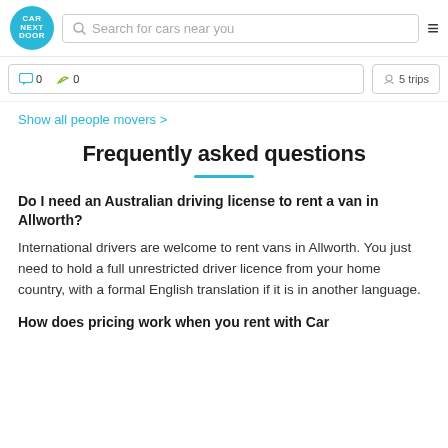CAR NEXT DOOR — Search for cars near you
0  0  5 trips
Show all people movers >
Frequently asked questions
Do I need an Australian driving license to rent a van in Allworth?
International drivers are welcome to rent vans in Allworth. You just need to hold a full unrestricted driver licence from your home country, with a formal English translation if it is in another language.
How does pricing work when you rent with Car